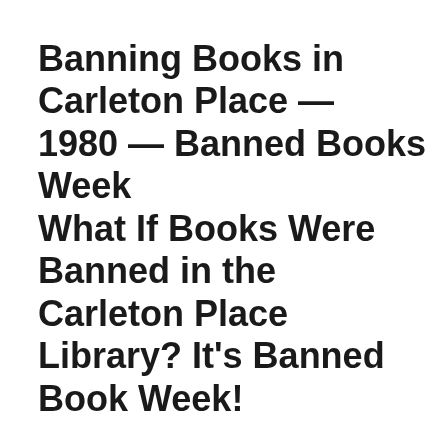Banning Books in Carleton Place — 1980 — Banned Books Week What If Books Were Banned in the Carleton Place Library? It's Banned Book Week! Immoral Literature, My How Things